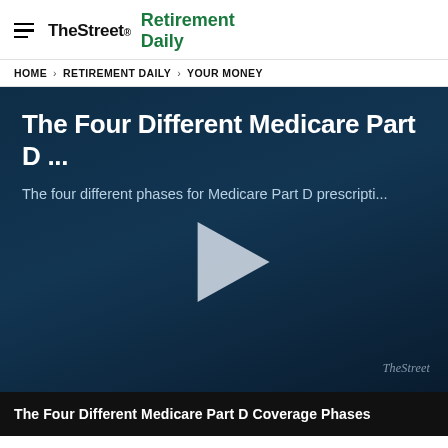TheStreet · Retirement Daily
HOME > RETIREMENT DAILY > YOUR MONEY
[Figure (screenshot): Video player with dark blue background showing title 'The Four Different Medicare Part D ...' and subtitle 'The four different phases for Medicare Part D prescripti...' with a large play button triangle in the center and TheStreet watermark in the bottom right]
The Four Different Medicare Part D Coverage Phases